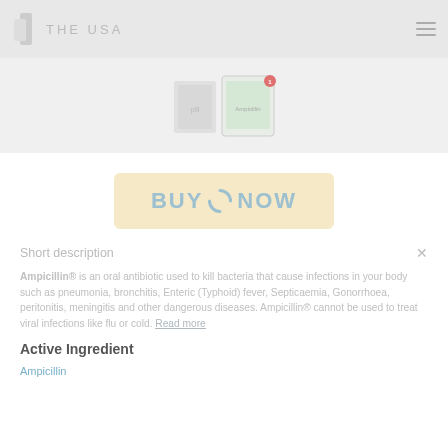THE USA
[Figure (photo): Product package image thumbnail for Ampicillin]
[Figure (other): BUY NOW button with loading spinner]
Short description
Ampicillin® is an oral antibiotic used to kill bacteria that cause infections in your body such as pneumonia, bronchitis, Enteric (Typhoid) fever, Septicaemia, Gonorrhoea, peritonitis, meningitis and other dangerous diseases. Ampicillin® cannot be used to treat viral infections like flu or cold. Read more
Active Ingredient
Ampicillin